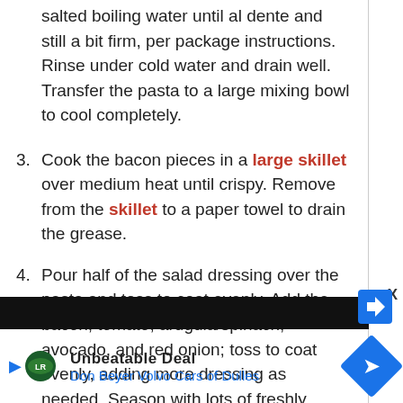2. Meanwhile, cook the pasta in a large pot of well-salted boiling water until al dente and still a bit firm, per package instructions. Rinse under cold water and drain well. Transfer the pasta to a large mixing bowl to cool completely.
3. Cook the bacon pieces in a large skillet over medium heat until crispy. Remove from the skillet to a paper towel to drain the grease.
4. Pour half of the salad dressing over the pasta and toss to coat evenly. Add the bacon, tomato, arugula/spinach, avocado, and red onion; toss to coat evenly, adding more dressing as needed. Season with lots of freshly cracked black pepper, to taste and serve. Enjoy.
[Figure (screenshot): Advertisement banner: Unbeatable Deal - Don Beyer Volvo Cars of Dulles with Land Rover logo and navigation arrow icon. Black strip above ad with close X button.]